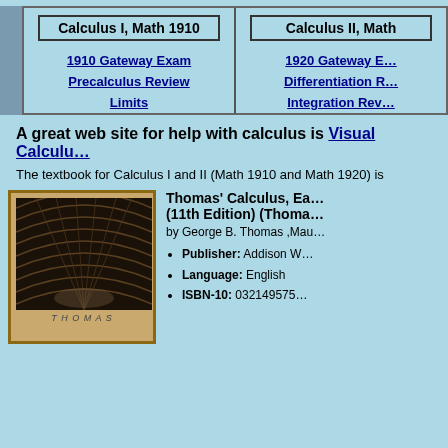Calculus I, Math 1910
Calculus II, Math
1910 Gateway Exam
Precalculus Review
Limits
1920 Gateway E...
Differentiation R...
Integration Rev...
A great web site for help with calculus is Visual Calculu...
The textbook for Calculus I and II (Math 1910 and Math 1920) is
[Figure (photo): Cover of Thomas' Calculus textbook showing an architectural/industrial interior photo]
Thomas' Calculus, Ea... (11th Edition) (Thoma...
by George B. Thomas ,Mau...
Publisher: Addison W...
Language: English
ISBN-10: 032149575...